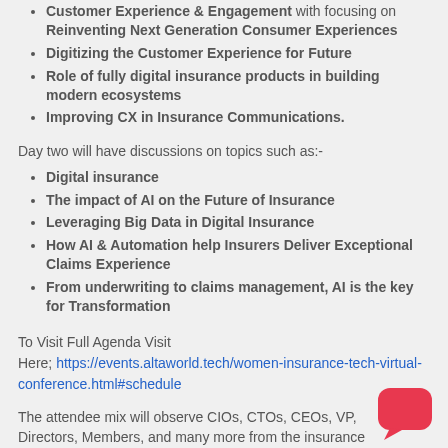Customer Experience & Engagement with focusing on Reinventing Next Generation Consumer Experiences
Digitizing the Customer Experience for Future
Role of fully digital insurance products in building modern ecosystems
Improving CX in Insurance Communications.
Day two will have discussions on topics such as:-
Digital insurance
The impact of AI on the Future of Insurance
Leveraging Big Data in Digital Insurance
How AI & Automation help Insurers Deliver Exceptional Claims Experience
From underwriting to claims management, AI is the key for Transformation
To Visit Full Agenda Visit Here; https://events.altaworld.tech/women-insurance-tech-virtual-conference.html#schedule
The attendee mix will observe CIOs, CTOs, CEOs, VP, Directors, Members, and many more from the insurance industry.